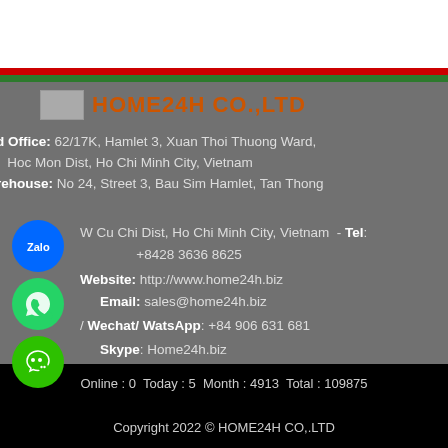HOME24H CO.,LTD
Head Office: 62/17K, Hamlet 3, Xuan Thoi Thuong Ward, Hoc Mon Dist, Ho Chi Minh City, Vietnam
Warehouse: No 24, Street 3, Bau Sim Hamlet, Tan Thong Ward, Cu Chi Dist, Ho Chi Minh City, Vietnam - Tel: +8428 3636 8625
Website: http://www.home24h.biz
Email: sales@home24h.biz
Zalo/ Wechat/ WatsApp: +84 906 631 681
Skype: Home24h.biz
Online : 0  Today : 5  Month : 4913  Total : 109875
Copyright 2022 © HOME24H CO,.LTD